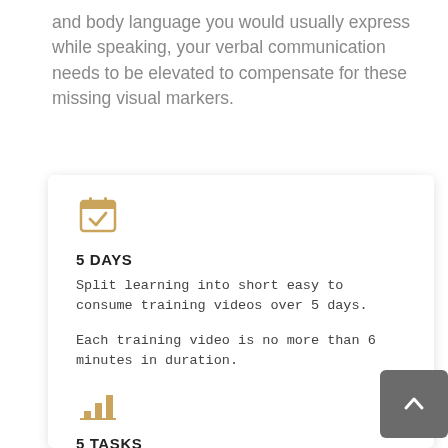and body language you would usually express while speaking, your verbal communication needs to be elevated to compensate for these missing visual markers.
[Figure (illustration): Golden/tan calendar icon with a checkmark inside, indicating a scheduled task or completion.]
5 DAYS
Split learning into short easy to consume training videos over 5 days.
Each training video is no more than 6 minutes in duration.
[Figure (illustration): Golden/tan bar chart icon indicating progress or tasks.]
5 TASKS
A task to complete every day creating a new skill or enhancing an existing one.